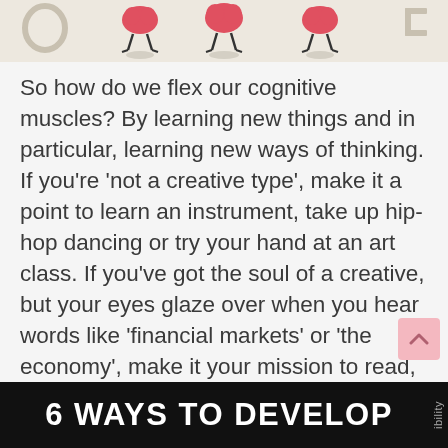[Figure (illustration): Top banner showing illustrated brain characters with stick figure legs standing on small platforms, on a light beige background]
So how do we flex our cognitive muscles? By learning new things and in particular, learning new ways of thinking. If you're 'not a creative type', make it a point to learn an instrument, take up hip-hop dancing or try your hand at an art class. If you've got the soul of a creative, but your eyes glaze over when you hear words like 'financial markets' or 'the economy', make it your mission to read, think, understand, analyze and step beyond the bonded rationality.
[Figure (infographic): Black banner at bottom with white bold text reading '6 WAYS TO DEVELOP' and a vertical sidebar text reading 'ibility']